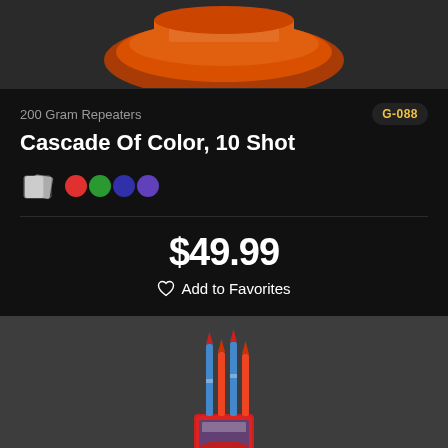[Figure (photo): Top portion of a firework product package with orange and red packaging, partially visible from above]
200 Gram Repeaters
G-088
Cascade Of Color, 10 Shot
[Figure (illustration): Color swatch icons: a card/palette icon in grey, followed by four colored circles: red, green, dark blue/purple, purple]
$49.99
Add to Favorites
[Figure (photo): Firework product package - tall red bundled rockets/missiles product standing upright]